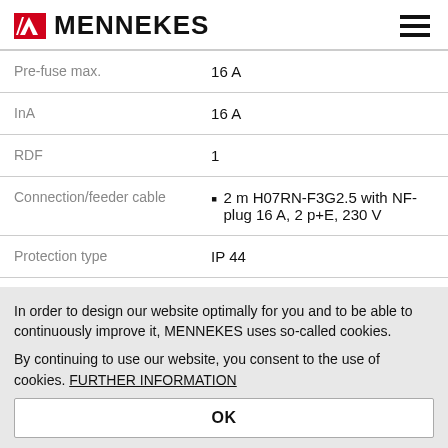MENNEKES
| Property | Value |
| --- | --- |
| Pre-fuse max. | 16 A |
| InA | 16 A |
| RDF | 1 |
| Connection/feeder cable | 2 m H07RN-F3G2.5 with NF-plug 16 A, 2 p+E, 230 V |
| Protection type | IP 44 |
In order to design our website optimally for you and to be able to continuously improve it, MENNEKES uses so-called cookies.
By continuing to use our website, you consent to the use of cookies. FURTHER INFORMATION
OK